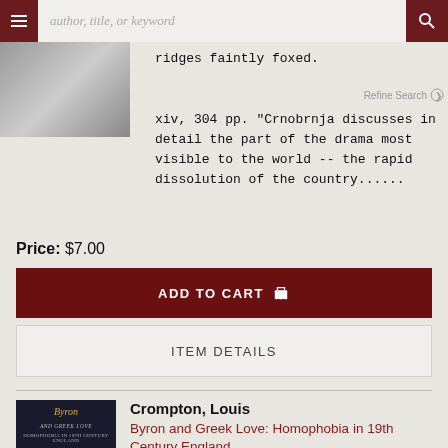author, title, or keyword
ridges faintly foxed.
xiv, 304 pp. "Crnobrnja discusses in detail the part of the drama most visible to the world -- the rapid dissolution of the country......
Price: $7.00
ADD TO CART
ITEM DETAILS
Crompton, Louis
Byron and Greek Love: Homophobia in 19th Century England